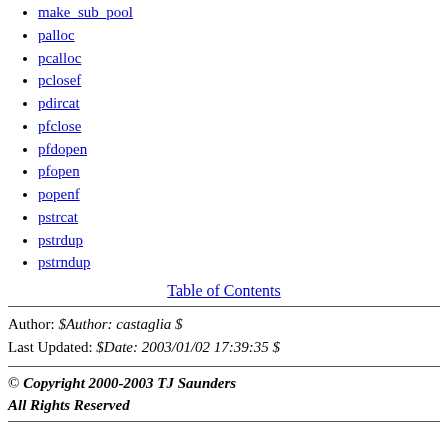make_sub_pool
palloc
pcalloc
pclosef
pdircat
pfclose
pfdopen
pfopen
popenf
pstrcat
pstrdup
pstrndup
Table of Contents
Author: $Author: castaglia $
Last Updated: $Date: 2003/01/02 17:39:35 $
© Copyright 2000-2003 TJ Saunders
All Rights Reserved